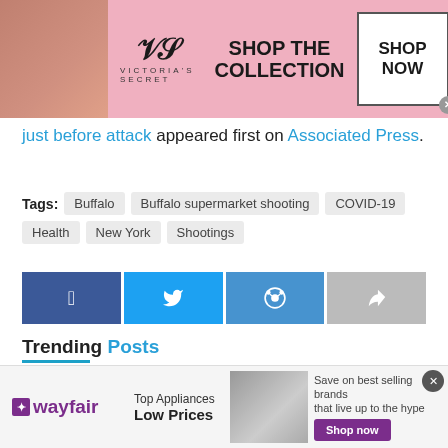[Figure (photo): Victoria's Secret advertisement banner with model, VS logo, 'SHOP THE COLLECTION' text, and 'SHOP NOW' button]
just before attack appeared first on Associated Press.
Tags: Buffalo  Buffalo supermarket shooting  COVID-19  Health  New York  Shootings
[Figure (infographic): Social share buttons: Facebook, Twitter, Reddit, Forward/Share]
Trending Posts
You've Probably Seen Yourself in Your Memories
AUGUST 29, 2022
[Figure (photo): Wayfair advertisement: Top Appliances Low Prices, Save on best selling brands that live up to the hype, Shop now button]